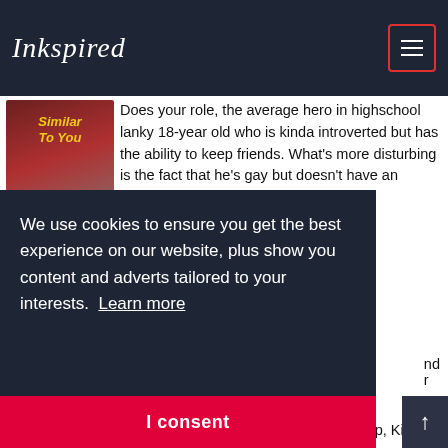Inkspired
[Figure (illustration): Book cover thumbnail with stylized text and figures]
Does your role, the average hero in highschool lanky 18-year old who is kinda introverted but has the ability to keep friends. What's more disturbing is the fact that he's gay but doesn't have an idea...
START READING
We use cookies to ensure you get the best experience on our website, plus show you content and adverts tailored to your interests. Learn more
I consent
group, Kim d...